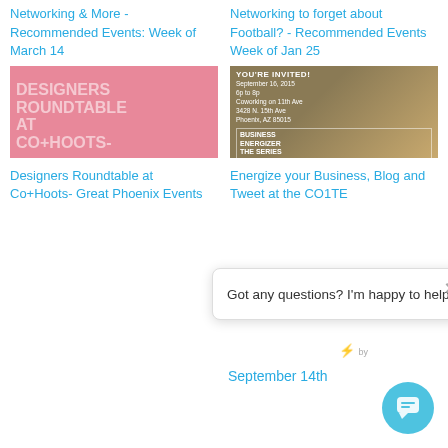Networking & More - Recommended Events: Week of March 14
Networking to forget about Football? - Recommended Events Week of Jan 25
[Figure (photo): Pink background with white text: DESIGNERS ROUNDTABLE AT CO+HOOTS-]
[Figure (photo): Business Energizer event flyer with man in apron. YOU'RE INVITED! September 16, 2015 6p to 8p, Coworking on 11th Ave, 3428 N. 15th Ave, Phoenix, AZ 85015. BUSINESS ENERGIZER THE SERIES]
Designers Roundtable at Co+Hoots- Great Phoenix Events
Energize your Business, Blog and Tweet at the CO1TE
Got any questions? I'm happy to help.
September 14th